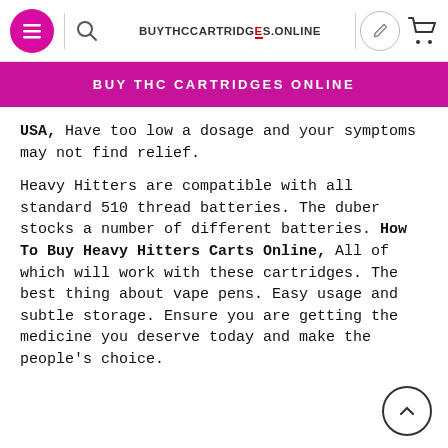BUYTHCCARTRIDGES.ONLINE
BUY THC CARTRIDGES ONLINE
USA, Have too low a dosage and your symptoms may not find relief.

Heavy Hitters are compatible with all standard 510 thread batteries. The duber stocks a number of different batteries. How To Buy Heavy Hitters Carts Online, All of which will work with these cartridges. The best thing about vape pens. Easy usage and subtle storage. Ensure you are getting the medicine you deserve today and make the people’s choice.